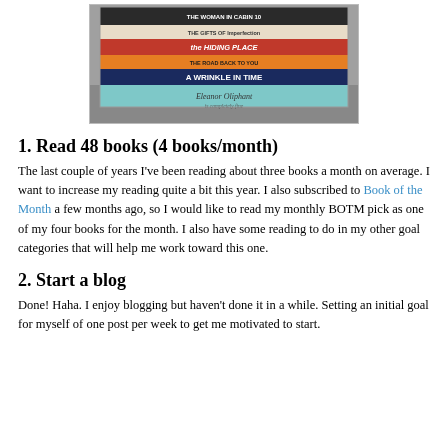[Figure (photo): A stack of books photographed from above on a gray surface. Books visible include 'The Gifts of Imperfection', 'The Hiding Place', 'The Road Back to You', 'A Wrinkle in Time', and 'Eleanor Oliphant is Completely Fine'.]
1. Read 48 books (4 books/month)
The last couple of years I've been reading about three books a month on average. I want to increase my reading quite a bit this year. I also subscribed to Book of the Month a few months ago, so I would like to read my monthly BOTM pick as one of my four books for the month. I also have some reading to do in my other goal categories that will help me work toward this one.
2. Start a blog
Done! Haha. I enjoy blogging but haven't done it in a while. Setting an initial goal for myself of one post per week to get me motivated to start.